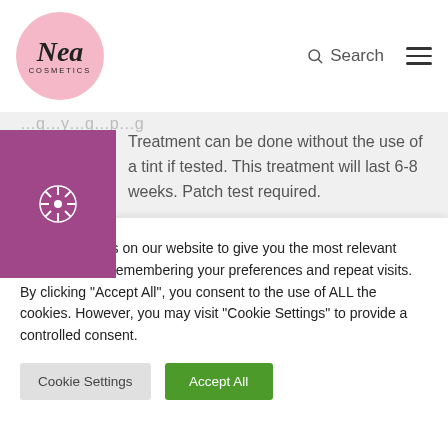Nea Cosmetics — Search (navigation bar with logo)
Treatment can be done without the use of a tint if tested. This treatment will last 6-8 weeks. Patch test required.
We use cookies on our website to give you the most relevant experience by remembering your preferences and repeat visits. By clicking "Accept All", you consent to the use of ALL the cookies. However, you may visit "Cookie Settings" to provide a controlled consent.